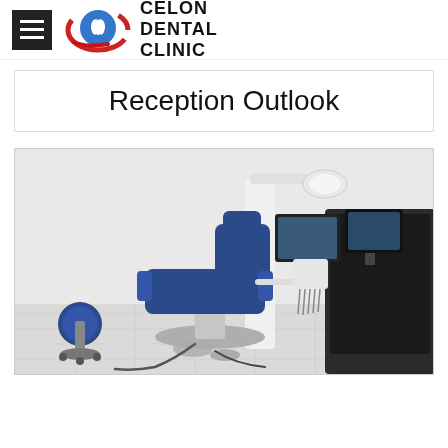CELON DENTAL CLINIC
Reception Outlook
[Figure (photo): Dental treatment room with a blue dental chair, dental equipment unit with instruments, overhead light, monitor screens, and a blue rolling stool on white tile floor.]